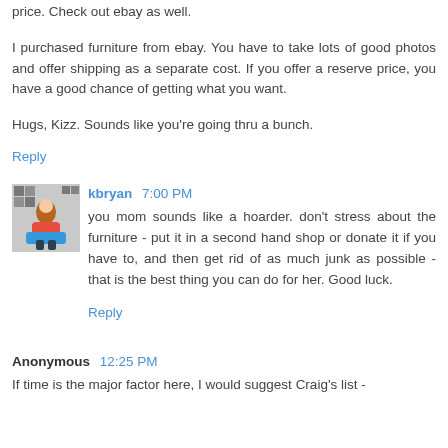price. Check out ebay as well.
I purchased furniture from ebay. You have to take lots of good photos and offer shipping as a separate cost. If you offer a reserve price, you have a good chance of getting what you want.
Hugs, Kizz. Sounds like you're going thru a bunch.
Reply
kbryan  7:00 PM
[Figure (photo): Avatar image for user kbryan showing a person sitting]
you mom sounds like a hoarder. don't stress about the furniture - put it in a second hand shop or donate it if you have to, and then get rid of as much junk as possible - that is the best thing you can do for her. Good luck.
Reply
Anonymous  12:25 PM
If time is the major factor here, I would suggest Craig's list -